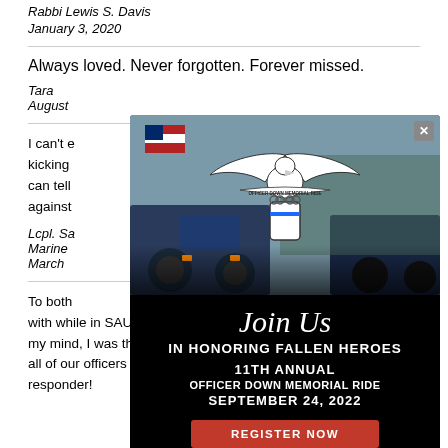Rabbi Lewis S. Davis
January 3, 2020
Always loved. Never forgotten. Forever missed.
Tara
August
I can't e...kicking...you. I can tell...s battle against...
Lcpl. Sa...
Marine...
March...
[Figure (infographic): Officer Down Memorial Ride popup modal with logo, motorcycle photo background, text 'Join Us IN HONORING FALLEN HEROES', '11TH ANNUAL OFFICER DOWN MEMORIAL RIDE SEPTEMBER 24, 2022', and a red REGISTER NOW button]
To both...worked with while in SAU and now in training, will be forever in my mind, I was there as a first responder....and I now teach all of our officers about the dangers of being a first responder!